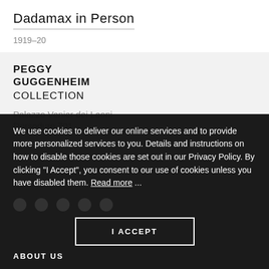Dadamax in Person
1919–20
PEGGY GUGGENHEIM COLLECTION
Palazzo Venier dei Leoni
Dorsoduro 701
We use cookies to deliver our online services and to provide more personalized services to you. Details and instructions on how to disable those cookies are set out in our Privacy Policy. By clicking "I Accept", you consent to our use of cookies unless you have disabled them. Read more ...
I ACCEPT